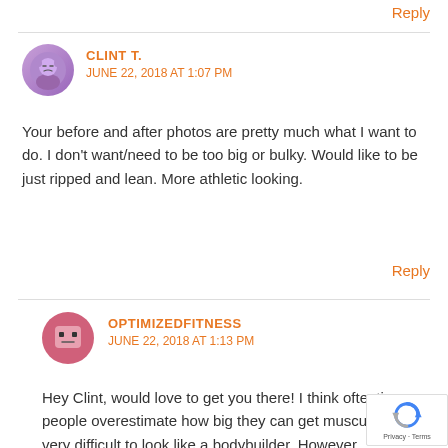Reply
CLINT T.
JUNE 22, 2018 AT 1:07 PM
Your before and after photos are pretty much what I want to do. I don't want/need to be too big or bulky. Would like to be just ripped and lean. More athletic looking.
Reply
OPTIMIZEDFITNESS
JUNE 22, 2018 AT 1:13 PM
Hey Clint, would love to get you there! I think oftentimes people overestimate how big they can get muscularly. It's very difficult to look like a bodybuilder. However, achieving a ripped athletic look is certainly doable! I have helped many